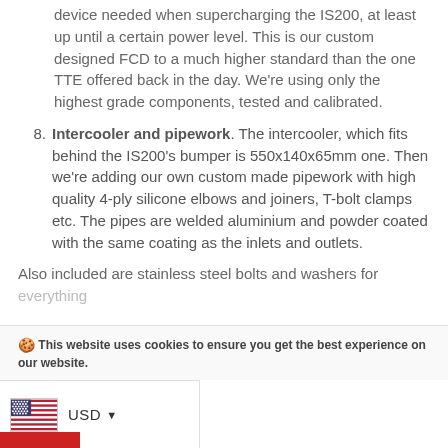device needed when supercharging the IS200, at least up until a certain power level. This is our custom designed FCD to a much higher standard than the one TTE offered back in the day. We're using only the highest grade components, tested and calibrated.
8. Intercooler and pipework. The intercooler, which fits behind the IS200's bumper is 550x140x65mm one. Then we're adding our own custom made pipework with high quality 4-ply silicone elbows and joiners, T-bolt clamps etc. The pipes are welded aluminium and powder coated with the same coating as the inlets and outlets.
Also included are stainless steel bolts and washers for everything
🍪 This website uses cookies to ensure you get the best experience on our website.
[Figure (other): USD currency selector with US flag icon and dropdown arrow]